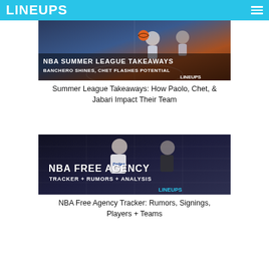LINEUPS
[Figure (photo): NBA Summer League Takeaways article thumbnail showing basketball players with text overlay: 'NBA SUMMER LEAGUE TAKEAWAYS' and 'BANCHERO SHINES, CHET FLASHES POTENTIAL', with LINEUPS logo]
Summer League Takeaways: How Paolo, Chet, & Jabari Impact Their Team
[Figure (photo): NBA Free Agency Tracker article thumbnail showing Dallas Mavericks player dribbling with text overlay: 'NBA FREE AGENCY' and 'TRACKER + RUMORS + ANALYSIS', with LINEUPS logo]
NBA Free Agency Tracker: Rumors, Signings, Players + Teams